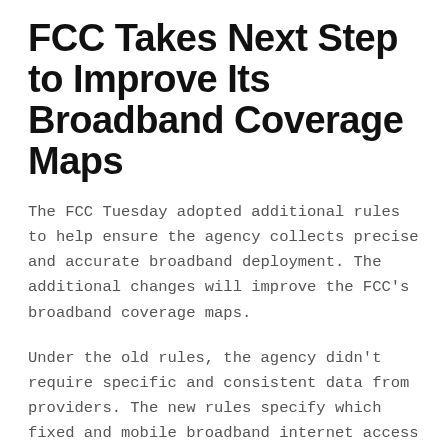FCC Takes Next Step to Improve Its Broadband Coverage Maps
The FCC Tuesday adopted additional rules to help ensure the agency collects precise and accurate broadband deployment. The additional changes will improve the FCC's broadband coverage maps.
Under the old rules, the agency didn't require specific and consistent data from providers. The new rules specify which fixed and mobile broadband internet access service providers are